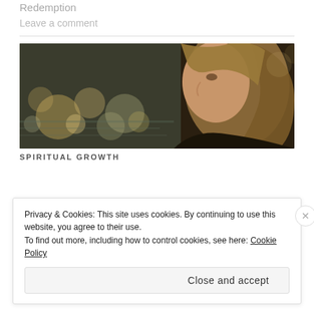Redemption
Leave a comment
[Figure (photo): Side profile of a young woman with long blonde-brown hair, bokeh lights in background]
SPIRITUAL GROWTH
Privacy & Cookies: This site uses cookies. By continuing to use this website, you agree to their use.
To find out more, including how to control cookies, see here: Cookie Policy
Close and accept